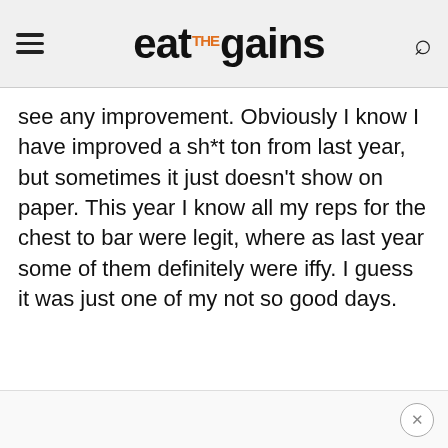eat THE gains
see any improvement. Obviously I know I have improved a sh*t ton from last year, but sometimes it just doesn’t show on paper. This year I know all my reps for the chest to bar were legit, where as last year some of them definitely were iffy. I guess it was just one of my not so good days.